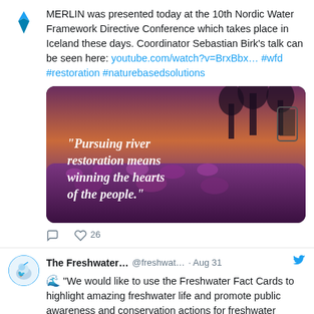MERLIN was presented today at the 10th Nordic Water Framework Directive Conference which takes place in Iceland these days. Coordinator Sebastian Birk's talk can be seen here: youtube.com/watch?v=BrxBbx… #wfd #restoration #naturebasedsolutions
[Figure (photo): Video thumbnail showing a field of purple flowers at sunset with white italic text overlay reading: 'Pursuing river restoration means winning the hearts of the people.']
26 likes
The Freshwater… @freshwat… · Aug 31
"We would like to use the Freshwater Fact Cards to highlight amazing freshwater life and promote public awareness and conservation actions for freshwater biodiversity" ~ @FengzhiHe